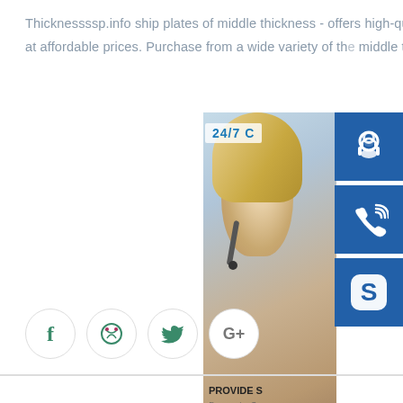Thicknessssp.info ship plates of middle thickness - offers high-quality ship plates of middle thickness at affordable prices. Purchase from a wide variety of the middle thickness sp.info
[Figure (infographic): Customer support widget showing 24/7 label, photo of woman with headset, and three blue icon boxes (headset, phone, Skype) on the right, with 'PROVIDE / Empowering Cus...' text and 'online live' button]
f (Facebook icon)
Dribbble icon
Twitter icon
G+ icon
3 Recently News
[Figure (photo): Industrial warehouse or factory floor photo with stacked steel plates and crane overhead]